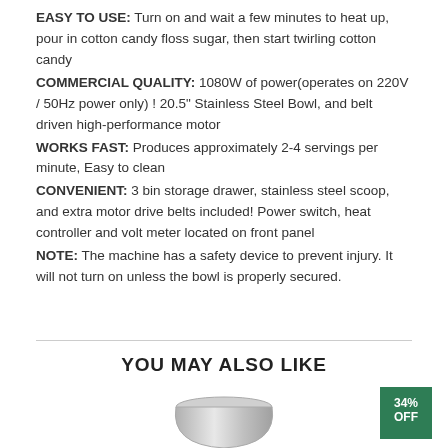EASY TO USE: Turn on and wait a few minutes to heat up, pour in cotton candy floss sugar, then start twirling cotton candy
COMMERCIAL QUALITY: 1080W of power(operates on 220V / 50Hz power only) ! 20.5" Stainless Steel Bowl, and belt driven high-performance motor
WORKS FAST: Produces approximately 2-4 servings per minute, Easy to clean
CONVENIENT: 3 bin storage drawer, stainless steel scoop, and extra motor drive belts included! Power switch, heat controller and volt meter located on front panel
NOTE: The machine has a safety device to prevent injury. It will not turn on unless the bowl is properly secured.
YOU MAY ALSO LIKE
[Figure (photo): Stainless steel bowl product image with a 34% OFF badge in green]